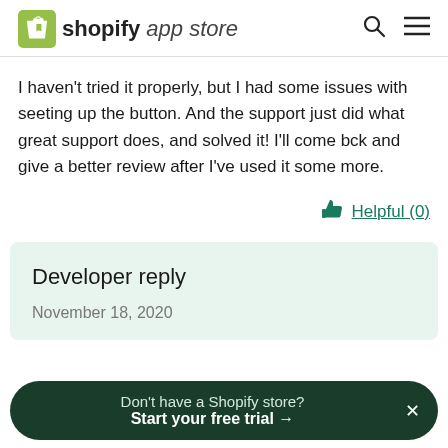shopify app store
I haven't tried it properly, but I had some issues with seeting up the button. And the support just did what great support does, and solved it! I'll come bck and give a better review after I've used it some more.
Helpful (0)
Developer reply
November 18, 2020
Don't have a Shopify store? Start your free trial →